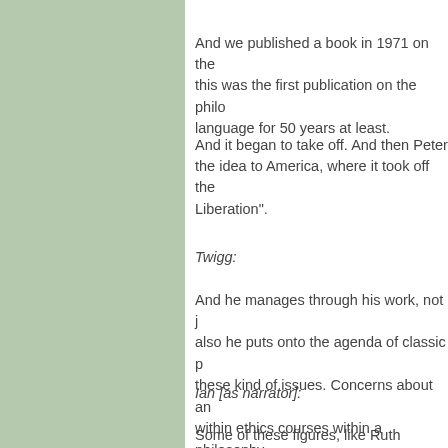And we published a book in 1971 on the philosophy of animal rights and this was the first publication on the philo- language for 50 years at least.
And it began to take off. And then Peter the idea to America, where it took off the Liberation".
Twigg:
And he manages through his work, not j also he puts onto the agenda of classic p these kind of issues. Concerns about an within ethics courses within a philosophy
Ian [as narrator]:
Some of these figures, like Ruth Harriso practices and aren't strictly vegetarian. B and go vegetarian or vegan.